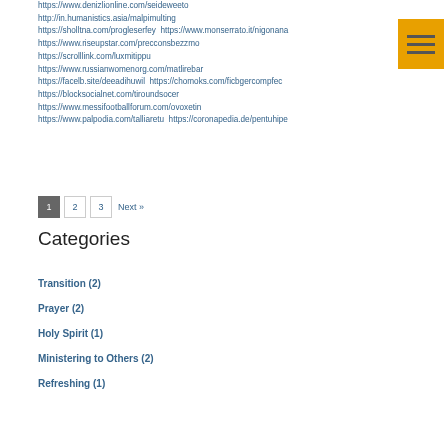https://www.denizlionline.com/seideweeto
http://in.humanistics.asia/malpimulting
https://sholltna.com/progleserfey https://www.monserrato.it/nigonana
https://www.riseupstar.com/precconsbezzmo
https://scrolllink.com/luxmitippu
https://www.russianwomenorg.com/matlirebar
https://facelb.site/deeadihuwil https://chomoks.com/ficbgercompfec
https://blocksocialnet.com/tiroundsocer
https://www.messifootballforum.com/ovoxetin
https://www.palpodia.com/talliaretu https://coronapedia.de/pentuhipe
[Figure (infographic): Orange hamburger menu icon with three horizontal lines]
1 2 3 Next »
Categories
Transition (2)
Prayer (2)
Holy Spirit (1)
Ministering to Others (2)
Refreshing (1)